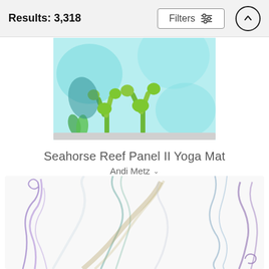Results: 3,318
[Figure (photo): Partial top view of a yoga mat with seahorse reef panel II design, showing green coral/plant shapes on a light blue/teal background]
Seahorse Reef Panel II Yoga Mat
Andi Metz
$65 (strikethrough) $52
[Figure (photo): Partial view of a yoga mat with abstract colorful smoke art in purple, teal, green and beige colors on a white background]